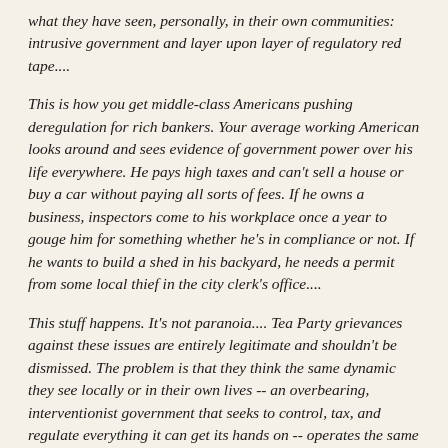what they have seen, personally, in their own communities: intrusive government and layer upon layer of regulatory red tape....
This is how you get middle-class Americans pushing deregulation for rich bankers. Your average working American looks around and sees evidence of government power over his life everywhere. He pays high taxes and can't sell a house or buy a car without paying all sorts of fees. If he owns a business, inspectors come to his workplace once a year to gouge him for something whether he's in compliance or not. If he wants to build a shed in his backyard, he needs a permit from some local thief in the city clerk's office....
This stuff happens. It's not paranoia.... Tea Party grievances against these issues are entirely legitimate and shouldn't be dismissed. The problem is that they think the same dynamic they see locally or in their own lives -- an overbearing, interventionist government that seeks to control, tax, and regulate everything it can get its hands on -- operates the same everywhere.
Of course, Taibbi does go on to say that teabaggers are wrong to think the CEOs and fat cats are suffering under a horrible regulatory burden. Taibbi mentions that the word he is using here...